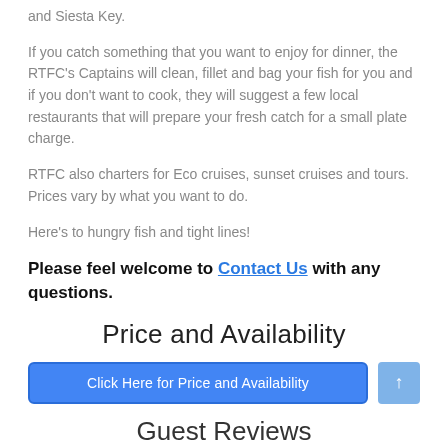and Siesta Key.
If you catch something that you want to enjoy for dinner, the RTFC's Captains will clean, fillet and bag your fish for you and if you don't want to cook, they will suggest a few local restaurants that will prepare your fresh catch for a small plate charge.
RTFC also charters for Eco cruises, sunset cruises and tours.  Prices vary by what you want to do.
Here's to hungry fish and tight lines!
Please feel welcome to Contact Us with any questions.
Price and Availability
Click Here for Price and Availability
Guest Reviews